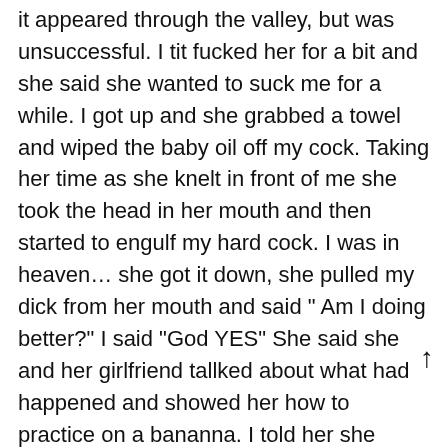it appeared through the valley, but was unsuccessful. I tit fucked her for a bit and she said she wanted to suck me for a while. I got up and she grabbed a towel and wiped the baby oil off my cock. Taking her time as she knelt in front of me she took the head in her mouth and then started to engulf my hard cock. I was in heaven… she got it down, she pulled my dick from her mouth and said " Am I doing better?" I said "God YES" She said she and her girlfriend tallked about what had happened and showed her how to practice on a bananna. I told her she definitely got it down. She stood up quickly and said "I have something to show you" She told me to close my eyes and then dropped her panties. She told me to open my eyes and what was staring me in the face was a bald escort bayan as a baby's ass pussy. I asked her "what was up?" She said her girlfriend helped her shave and "showed her some things" I asked what that meant and she said